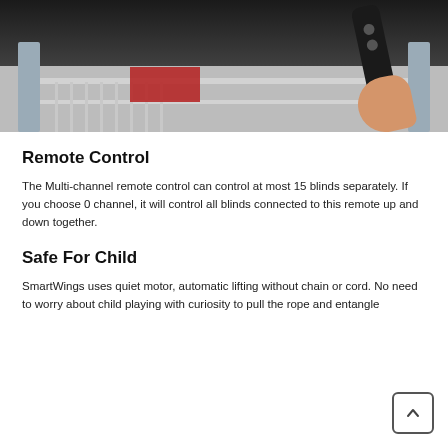[Figure (photo): Photo of a hand holding a slim black remote control in front of a staircase railing with a red decorative element in the background]
Remote Control
The Multi-channel remote control can control at most 15 blinds separately. If you choose 0 channel, it will control all blinds connected to this remote up and down together.
Safe For Child
SmartWings uses quiet motor, automatic lifting without chain or cord. No need to worry about child playing with curiosity to pull the rope and entangle